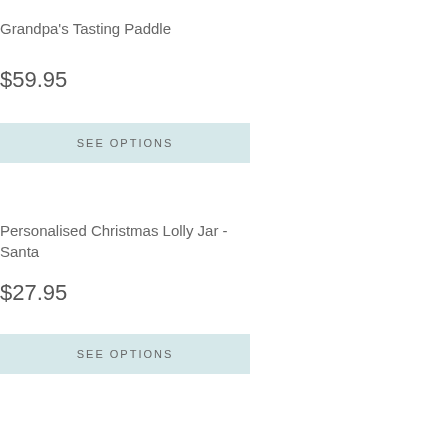Grandpa's Tasting Paddle
$59.95
SEE OPTIONS
Personalised Christmas Lolly Jar - Santa
$27.95
SEE OPTIONS